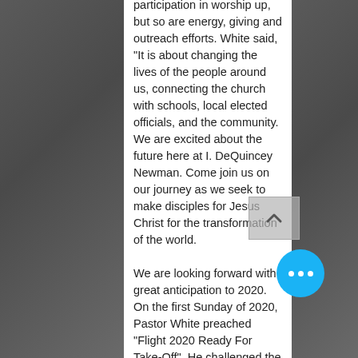participation in worship up, but so are energy, giving and outreach efforts.  White said, "It is about changing the lives of the people around us, connecting the church with schools, local elected officials, and the community.  We are excited about the future here at I. DeQuincey Newman.  Come join us on our journey as we seek to make disciples for Jesus Christ for the transformation of the world.

We are looking forward with great anticipation to 2020.   On the first Sunday of 2020, Pastor White preached "Flight 2020 Ready For Take-Off".  He challenged the congregation